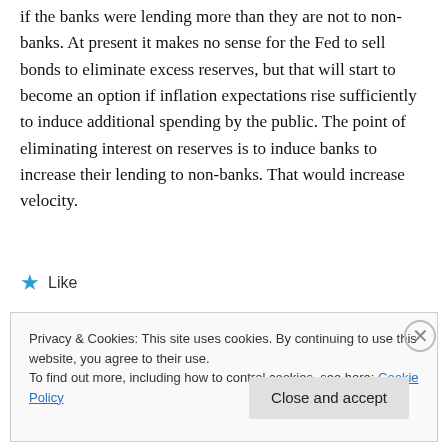if the banks were lending more than they are not to non-banks. At present it makes no sense for the Fed to sell bonds to eliminate excess reserves, but that will start to become an option if inflation expectations rise sufficiently to induce additional spending by the public. The point of eliminating interest on reserves is to induce banks to increase their lending to non-banks. That would increase velocity.
★ Like
Privacy & Cookies: This site uses cookies. By continuing to use this website, you agree to their use.
To find out more, including how to control cookies, see here: Cookie Policy
Close and accept